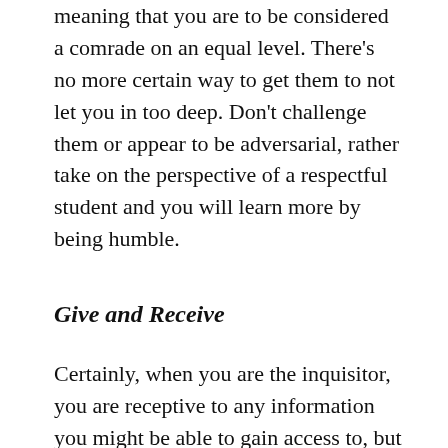meaning that you are to be considered a comrade on an equal level. There's no more certain way to get them to not let you in too deep. Don't challenge them or appear to be adversarial, rather take on the perspective of a respectful student and you will learn more by being humble.
Give and Receive
Certainly, when you are the inquisitor, you are receptive to any information you might be able to gain access to, but seek to give even more. While you may not be an expert in their arena of knowledge, caring about them as a person, and also showing an interest in him or her as a